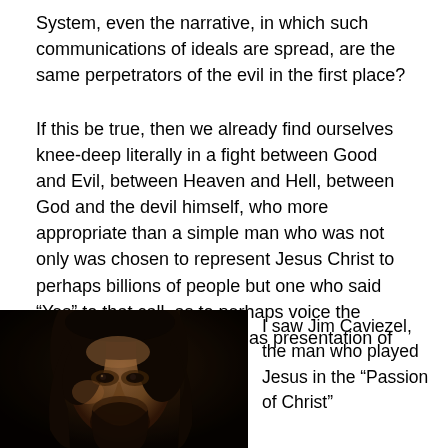System, even the narrative, in which such communications of ideals are spread, are the same perpetrators of the evil in the first place?
If this be true, then we already find ourselves knee-deep literally in a fight between Good and Evil, between Heaven and Hell, between God and the devil himself, who more appropriate than a simple man who was not only was chosen to represent Jesus Christ to perhaps billions of people but one who said “Yes” to that call, as to perhaps voice the words in a manner as well as presentation of Jesus Himself?
[Figure (photo): Close-up dark portrait photo of a man with long dark hair and beard, appearing in low-key lighting]
I saw Jim Caviezel, the man who played Jesus in the “Passion of Christ”